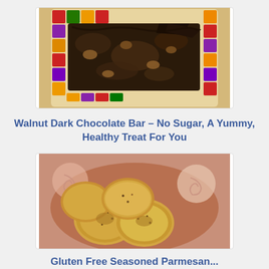[Figure (photo): Photo of a dark chocolate walnut bark arranged on a colorful mosaic/tile platter with red, purple, orange and yellow squares]
Walnut Dark Chocolate Bar – No Sugar, A Yummy, Healthy Treat For You
[Figure (photo): Photo of golden-brown roasted or baked round slices (zucchini or potato chips) with spices, served in a colorful bowl with swirl patterns]
Gluten Free Seasoned Parmesan...